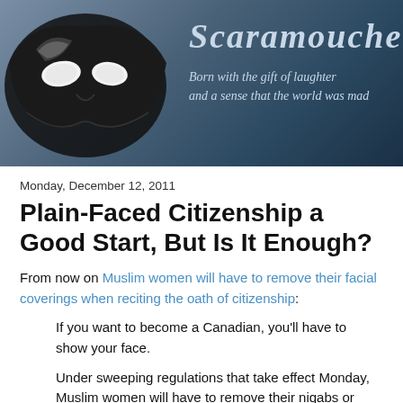[Figure (illustration): Blog header banner with a black venetian mask on the left, the blog title 'Scaramouche' in italic serif font, and subtitle 'Born with the gift of laughter and a sense that the world was mad' on a blue-grey gradient background.]
Monday, December 12, 2011
Plain-Faced Citizenship a Good Start, But Is It Enough?
From now on Muslim women will have to remove their facial coverings when reciting the oath of citizenship:
If you want to become a Canadian, you'll have to show your face.
Under sweeping regulations that take effect Monday, Muslim women will have to remove their niqabs or any other face-coverings such as burkas before reciting the oath of citizenship to